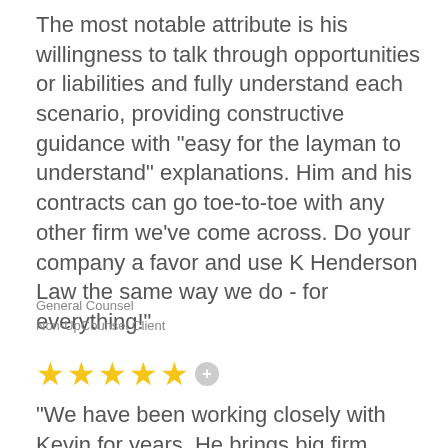The most notable attribute is his willingness to talk through opportunities or liabilities and fully understand each scenario, providing constructive guidance with "easy for the layman to understand" explanations. Him and his contracts can go toe-to-toe with any other firm we've come across. Do your company a favor and use K Henderson Law the same way we do - for everything!"
General Counsel
Non-UpCounsel Client
[Figure (other): Five gold stars with a grey plus circle, indicating a 5-star rating]
"We have been working closely with Kevin for years. He brings big firm experience at a modest price, with proper bedside manner. He